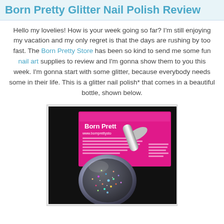Born Pretty Glitter Nail Polish Review
Hello my lovelies! How is your week going so far? I'm still enjoying my vacation and my only regret is that the days are rushing by too fast. The Born Pretty Store has been so kind to send me some fun nail art supplies to review and I'm gonna show them to you this week. I'm gonna start with some glitter, because everybody needs some in their life. This is a glitter nail polish* that comes in a beautiful bottle, shown below.
[Figure (photo): A glitter nail polish bottle with a round spherical base filled with multicolored glitter, placed on a pink Born Pretty Store business card against a dark background.]